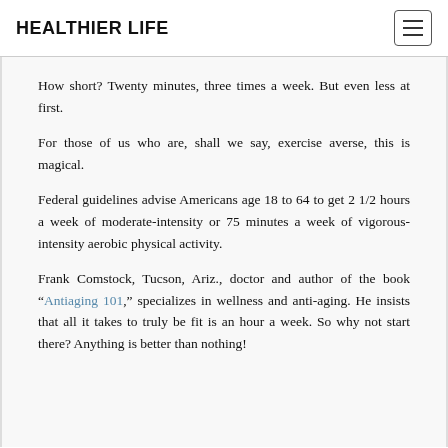HEALTHIER LIFE
How short? Twenty minutes, three times a week. But even less at first.
For those of us who are, shall we say, exercise averse, this is magical.
Federal guidelines advise Americans age 18 to 64 to get 2 1/2 hours a week of moderate-intensity or 75 minutes a week of vigorous-intensity aerobic physical activity.
Frank Comstock, Tucson, Ariz., doctor and author of the book “Antiaging 101,” specializes in wellness and anti-aging. He insists that all it takes to truly be fit is an hour a week. So why not start there? Anything is better than nothing!